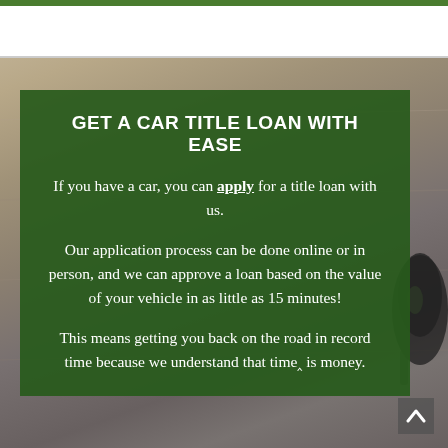[Figure (photo): Blurred background photo of a wooden desk surface with car keys visible on the right side]
GET A CAR TITLE LOAN WITH EASE
If you have a car, you can apply for a title loan with us.
Our application process can be done online or in person, and we can approve a loan based on the value of your vehicle in as little as 15 minutes!
This means getting you back on the road in record time because we understand that time is money.